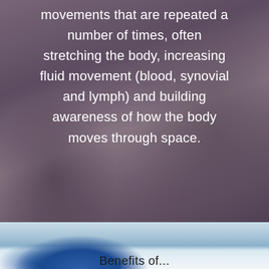[Figure (photo): Dark/muted background photo of a person doing yoga or stretching, with hand/arm visible in foreground, overlaid with white text and a Read More button]
movements that are repeated a number of times, often stretching the body, increasing fluid movement (blood, synovial and lymph) and building awareness of how the body moves through space.
Read More
[Figure (photo): Outdoor photo with blue sky and clouds; person in blue shirt visible at bottom, partial view suggesting yoga or fitness pose outdoors]
Benefits of...